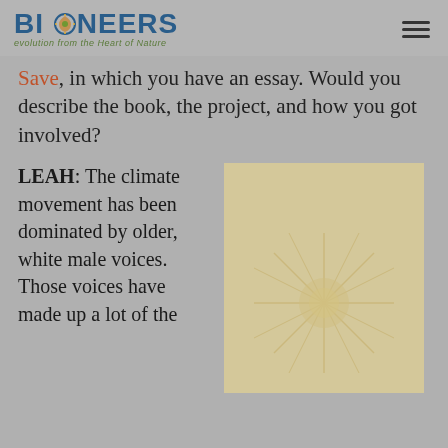BIONEERS — evolution from the Heart of Nature
Save, in which you have an essay. Would you describe the book, the project, and how you got involved?
LEAH: The climate movement has been dominated by older, white male voices. Those voices have made up a lot of the
[Figure (illustration): Book cover of 'All We Can Save: Truth, Courage, and Solutions for the Climate Crisis' with teal title text on a golden/tan background with sun-ray decorative elements]